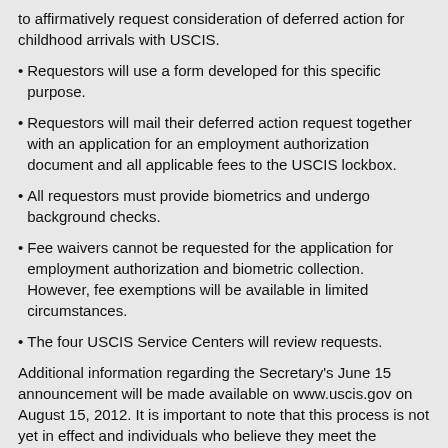to affirmatively request consideration of deferred action for childhood arrivals with USCIS.
Requestors will use a form developed for this specific purpose.
Requestors will mail their deferred action request together with an application for an employment authorization document and all applicable fees to the USCIS lockbox.
All requestors must provide biometrics and undergo background checks.
Fee waivers cannot be requested for the application for employment authorization and biometric collection. However, fee exemptions will be available in limited circumstances.
The four USCIS Service Centers will review requests.
Additional information regarding the Secretary’s June 15 announcement will be made available on www.uscis.gov on August 15, 2012. It is important to note that this process is not yet in effect and individuals who believe they meet the guidelines of this new process should not request consideration of deferred action before August 15, 2012. Requests submitted before August 15, 2012 will be